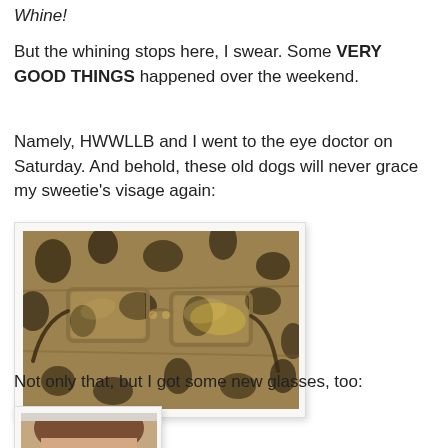Whine!
But the whining stops here, I swear. Some VERY GOOD THINGS happened over the weekend.
Namely, HWWLLB and I went to the eye doctor on Saturday. And behold, these old dogs will never grace my sweetie's visage again:
[Figure (photo): Old eyeglasses resting on a floral fabric background, gold/brown metal frames folded]
Not only that, but I got some new glasses, too:
[Figure (photo): Partial photo of a person wearing new glasses, showing top of head and hair]